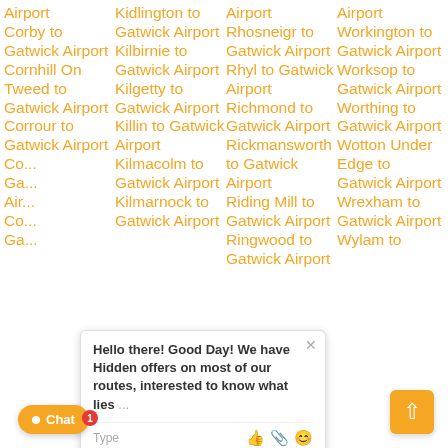Airport
Corby to Gatwick Airport
Cornhill On Tweed to Gatwick Airport
Corrour to Gatwick Airport
Kidlington to Gatwick Airport
Kilbirnie to Gatwick Airport
Kilgetty to Gatwick Airport
Killin to Gatwick Airport
Kilmacolm to Gatwick Airport
Kilmarnock to Gatwick Airport
Airport
Rhosneigr to Gatwick Airport
Rhyl to Gatwick Airport
Richmond to Gatwick Airport
Rickmansworth to Gatwick Airport
Riding Mill to Gatwick Airport
Ringwood to Gatwick Airport
Airport
Workington to Gatwick Airport
Worksop to Gatwick Airport
Worthing to Gatwick Airport
Wotton Under Edge to Gatwick Airport
Wrexham to Gatwick Airport
Wylam to